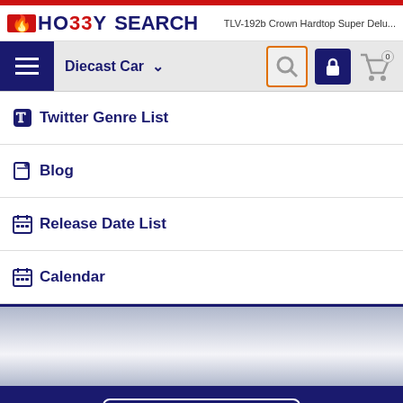HOBBY SEARCH — TLV-192b Crown Hardtop Super Delu...
[Figure (screenshot): Navigation bar with hamburger menu, Diecast Car category dropdown, search icon (orange border), lock icon, and cart icon with 0 count]
Twitter Genre List
Blog
Release Date List
Calendar
Display PC Site
Copyright © 1999-2022 HOBBYSEARCH. All Right Reserved.